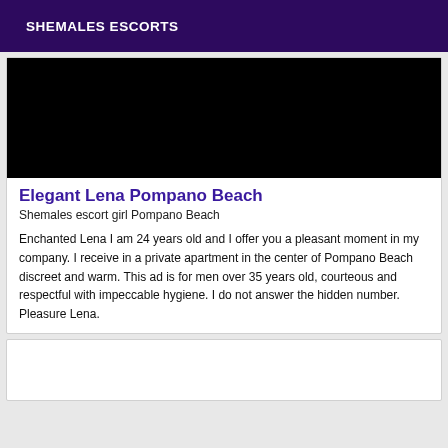SHEMALES ESCORTS
[Figure (photo): Black rectangular image placeholder at top of listing card]
Elegant Lena Pompano Beach
Shemales escort girl Pompano Beach
Enchanted Lena I am 24 years old and I offer you a pleasant moment in my company. I receive in a private apartment in the center of Pompano Beach discreet and warm. This ad is for men over 35 years old, courteous and respectful with impeccable hygiene. I do not answer the hidden number. Pleasure Lena.